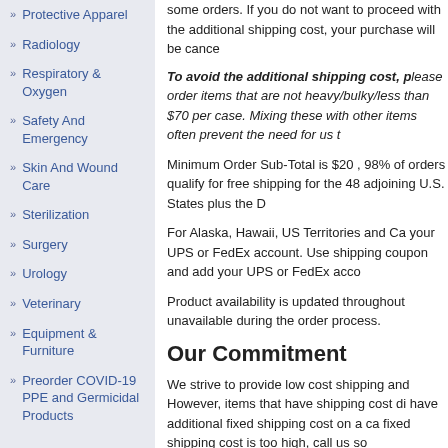Protective Apparel
Radiology
Respiratory & Oxygen
Safety And Emergency
Skin And Wound Care
Sterilization
Surgery
Urology
Veterinary
Equipment & Furniture
Preorder COVID-19 PPE and Germicidal Products
some orders. If you do not want to proceed with the additional shipping cost, your purchase will be cancelled.
To avoid the additional shipping cost, please order items that are not heavy/bulky/less than $70 per case. Mixing these with other items often prevent the need for us t
Minimum Order Sub-Total is $20 , 98% of orders qualify for free shipping for the 48 adjoining U.S. States plus the D
For Alaska, Hawaii, US Territories and Ca... your UPS or FedEx account. Use shipping... coupon and add your UPS or FedEx acco...
Product availability is updated throughout... unavailable during the order process.
Our Commitment
We strive to provide low cost shipping and... However, items that have shipping cost di... have additional fixed shipping cost on a ca... fixed shipping cost is too high, call us so...